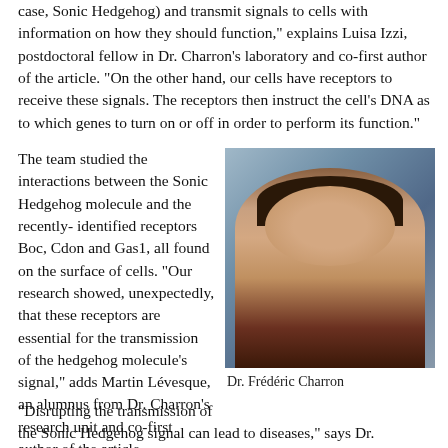case, Sonic Hedgehog) and transmit signals to cells with information on how they should function," explains Luisa Izzi, postdoctoral fellow in Dr. Charron's laboratory and co-first author of the article. "On the other hand, our cells have receptors to receive these signals. The receptors then instruct the cell's DNA as to which genes to turn on or off in order to perform its function."
The team studied the interactions between the Sonic Hedgehog molecule and the recently-identified receptors Boc, Cdon and Gas1, all found on the surface of cells. "Our research showed, unexpectedly, that these receptors are essential for the transmission of the hedgehog molecule's signal," adds Martin Lévesque, an alumnus from Dr. Charron's research unit and co-first author of the article.
[Figure (photo): Photo of Dr. Frédéric Charron, a man with dark hair and glasses, smiling, in a laboratory setting with bottles and equipment in the background.]
Dr. Frédéric Charron
"Disrupting the transmission of the Sonic Hedgehog signal can lead to diseases," says Dr. Charron.